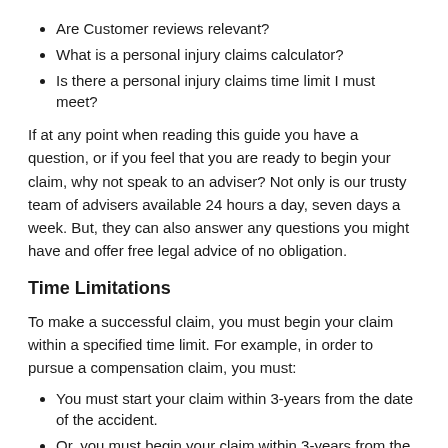Are Customer reviews relevant?
What is a personal injury claims calculator?
Is there a personal injury claims time limit I must meet?
If at any point when reading this guide you have a question, or if you feel that you are ready to begin your claim, why not speak to an adviser? Not only is our trusty team of advisers available 24 hours a day, seven days a week. But, they can also answer any questions you might have and offer free legal advice of no obligation.
Time Limitations
To make a successful claim, you must begin your claim within a specified time limit. For example, in order to pursue a compensation claim, you must:
You must start your claim within 3-years from the date of the accident.
Or, you must begin your claim within 3-years from the date you become knowledgeable of an illness or disease.
Meeting the time limit is crucial. Failing to meet the time limit could